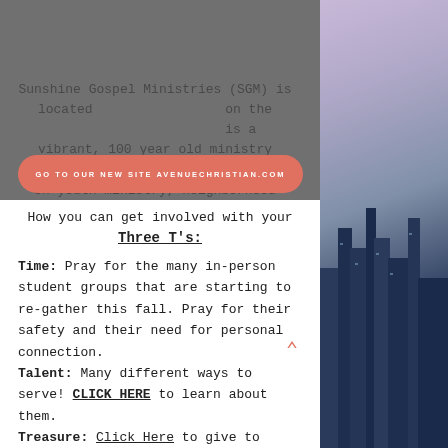[Figure (photo): Top dark overlay area with blurred background, partially obscuring text behind it]
Sunshine Gospel Ministries (SGM) is located on the ... is a vibrant, 100 year old ministry focused on youth ministry, neighborhood development and inner city/suburban partnerships.
GO TO OUR NEW SITE AVENUECHRISTIAN.COM
[Figure (photo): Right side city skyline photo with blue and purple tones]
How you can get involved with your Three T's:
Time: Pray for the many in-person student groups that are starting to re-gather this fall. Pray for their safety and their need for personal connection.
Talent: Many different ways to serve! CLICK HERE to learn about them.
Treasure: Click Here to give to